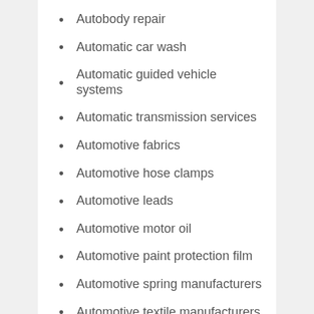Autobody repair
Automatic car wash
Automatic guided vehicle systems
Automatic transmission services
Automotive fabrics
Automotive hose clamps
Automotive leads
Automotive motor oil
Automotive paint protection film
Automotive spring manufacturers
Automotive textile manufacturers